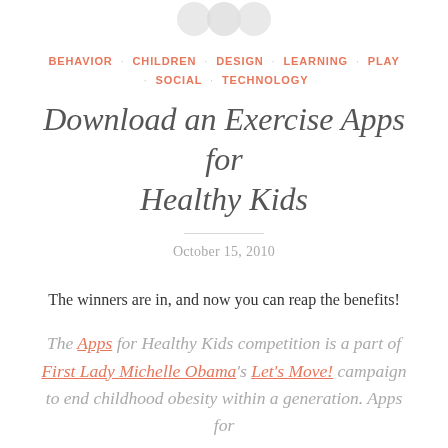[Figure (logo): Three overlapping circles (logo/icon) in light gray at the top center of the page]
BEHAVIOR · CHILDREN · DESIGN · LEARNING · PLAY · SOCIAL · TECHNOLOGY
Download an Exercise Apps for Healthy Kids
October 15, 2010
The winners are in, and now you can reap the benefits!
The Apps for Healthy Kids competition is a part of First Lady Michelle Obama's Let's Move! campaign to end childhood obesity within a generation. Apps for